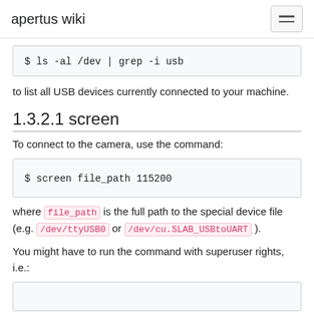apertus wiki
[Figure (screenshot): Code block showing: $ ls -al /dev | grep -i usb]
to list all USB devices currently connected to your machine.
1.3.2.1 screen
To connect to the camera, use the command:
[Figure (screenshot): Code block showing: $ screen file_path 115200]
where file_path is the full path to the special device file (e.g. /dev/ttyUSB0 or /dev/cu.SLAB_USBtoUART ).
You might have to run the command with superuser rights, i.e.:
[Figure (screenshot): Code block (partially visible at bottom of page)]